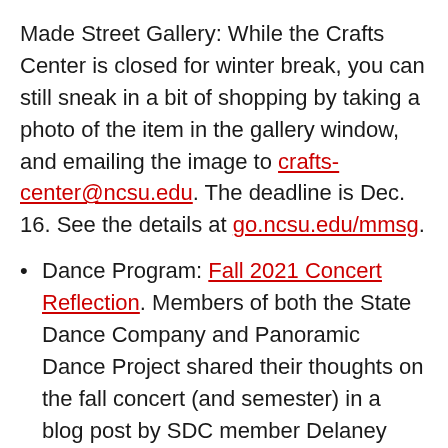Made Street Gallery: While the Crafts Center is closed for winter break, you can still sneak in a bit of shopping by taking a photo of the item in the gallery window, and emailing the image to crafts-center@ncsu.edu. The deadline is Dec. 16. See the details at go.ncsu.edu/mmsg.
Dance Program: Fall 2021 Concert Reflection. Members of both the State Dance Company and Panoramic Dance Project shared their thoughts on the fall concert (and semester) in a blog post by SDC member Delaney Galvin.
The Dance Program plans to announce the lineup for the Spring Masterclass Series this week.
Tickets for all NC State LIVE spring 2022 performances are on sale now! The schedule includes